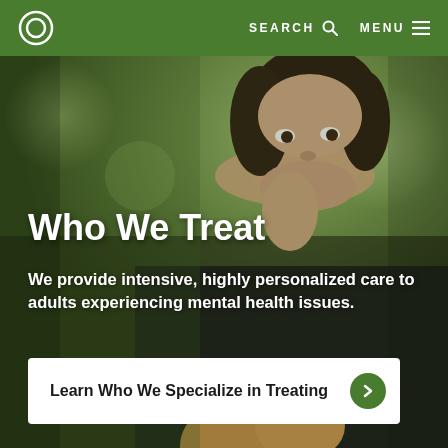SEARCH  MENU
[Figure (photo): Young Asian woman in a black shirt looking upward with a hopeful expression, holding a guitar, against a blurred green outdoor background]
Who We Treat
We provide intensive, highly personalized care to adults experiencing mental health issues.
Learn Who We Specialize in Treating